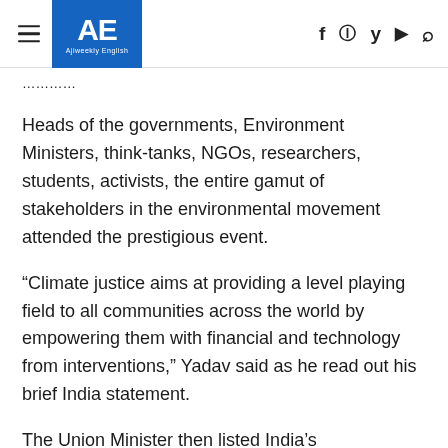AE Ajiweekly English — navigation header with hamburger menu, logo, and social icons
Heads of the governments, Environment Ministers, think-tanks, NGOs, researchers, students, activists, the entire gamut of stakeholders in the environmental movement attended the prestigious event.
“Climate justice aims at providing a level playing field to all communities across the world by empowering them with financial and technology from interventions,” Yadav said as he read out his brief India statement.
The Union Minister then listed India’s achievements vis-a-vis climate actions in both domestic and international arena, especially that done in partnership with other countries.
Towards the end, Bhupender Yadav remembered the theme of the conference ‘Healthy planet for prosperity of all’ and said